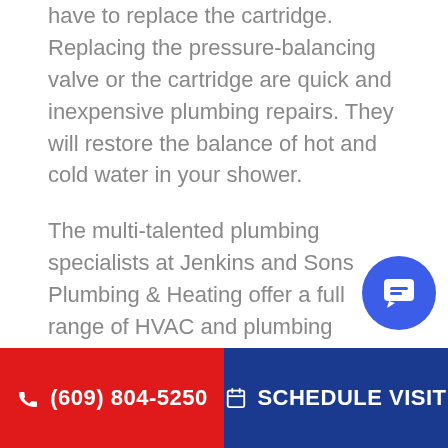have to replace the cartridge. Replacing the pressure-balancing valve or the cartridge are quick and inexpensive plumbing repairs. They will restore the balance of hot and cold water in your shower.
The multi-talented plumbing specialists at Jenkins and Sons Plumbing & Heating offer a full range of HVAC and plumbing services. Visit us online or call us to learn more.
(609) 804-5250   SCHEDULE VISIT